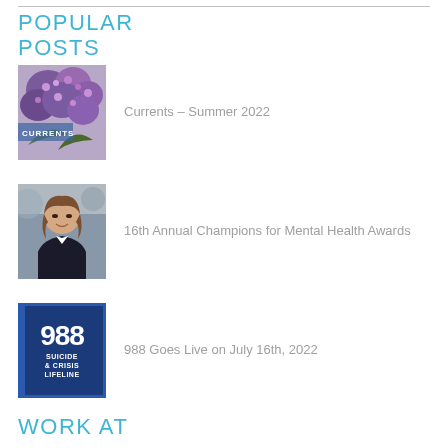POPULAR POSTS
Currents – Summer 2022
16th Annual Champions for Mental Health Awards
988 Goes Live on July 16th, 2022
WORK AT